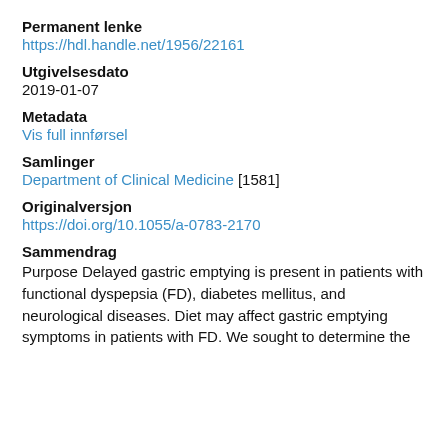Permanent lenke
https://hdl.handle.net/1956/22161
Utgivelsesdato
2019-01-07
Metadata
Vis full innførsel
Samlinger
Department of Clinical Medicine [1581]
Originalversjon
https://doi.org/10.1055/a-0783-2170
Sammendrag
Purpose Delayed gastric emptying is present in patients with functional dyspepsia (FD), diabetes mellitus, and neurological diseases. Diet may affect gastric emptying symptoms in patients with FD. We sought to determine the